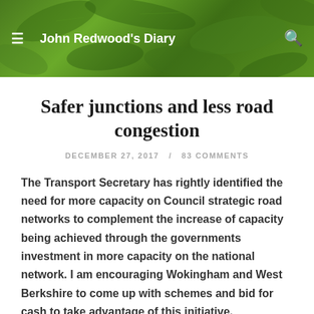John Redwood's Diary
Safer junctions and less road congestion
DECEMBER 27, 2017  /  83 COMMENTS
The Transport Secretary has rightly identified the need for more capacity on Council strategic road networks to complement the increase of capacity being achieved through the governments investment in more capacity on the national network. I am encouraging Wokingham and West Berkshire to come up with schemes and bid for cash to take advantage of this initiative.